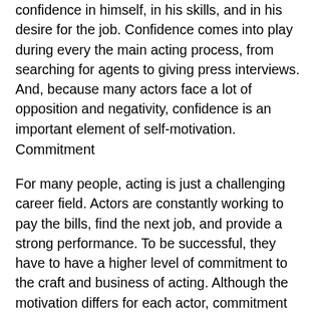confidence in himself, in his skills, and in his desire for the job. Confidence comes into play during every the main acting process, from searching for agents to giving press interviews. And, because many actors face a lot of opposition and negativity, confidence is an important element of self-motivation.
Commitment
For many people, acting is just a challenging career field. Actors are constantly working to pay the bills, find the next job, and provide a strong performance. To be successful, they have to have a higher level of commitment to the craft and business of acting. Although the motivation differs for each actor, commitment could be the driving force behind each proactive step and career-building move. Some actors fall